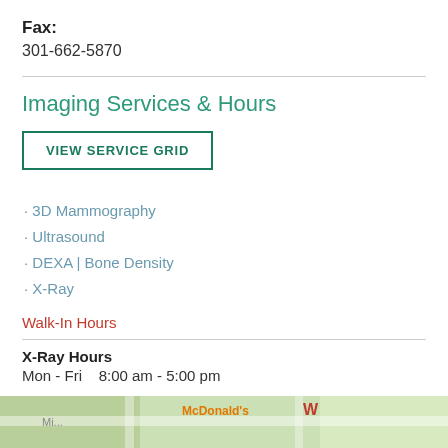Fax:
301-662-5870
Imaging Services & Hours
VIEW SERVICE GRID
3D Mammography
Ultrasound
DEXA | Bone Density
X-Ray
Walk-In Hours
X-Ray Hours
Mon - Fri   8:00 am - 5:00 pm
[Figure (map): Street map snippet showing McDonald's location with road overlays]